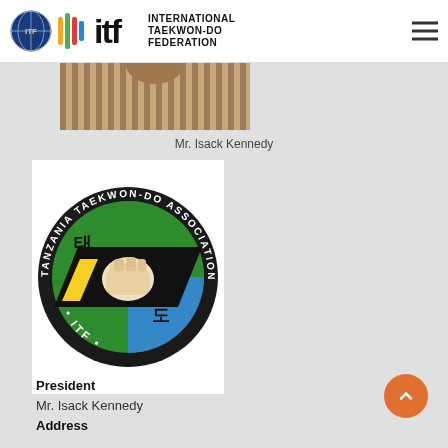International Taekwon-Do Federation
[Figure (photo): Cropped photo of Mr. Isack Kennedy showing striped shirt collar and lower face/neck]
Mr. Isack Kennedy
[Figure (logo): Tanzania Taekwon-Do Association ITF circular logo with green, black, blue and yellow sections, a fist in the center, and Korean characters 태 and 도]
President
Mr. Isack Kennedy
Address